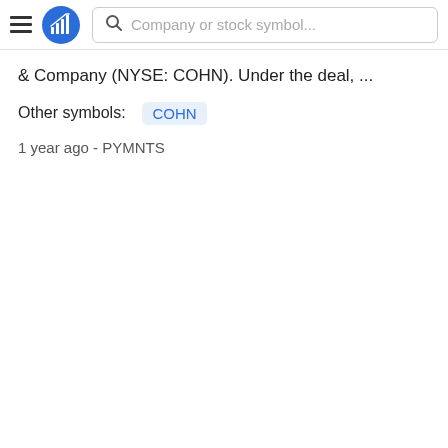Company or stock symbol...
& Company (NYSE: COHN). Under the deal, ...
Other symbols: COHN
1 year ago - PYMNTS